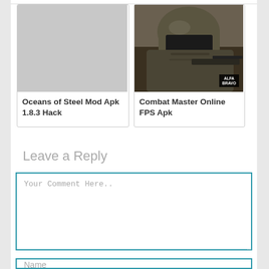[Figure (photo): Gray placeholder image for Oceans of Steel Mod Apk]
Oceans of Steel Mod Apk 1.8.3 Hack
[Figure (photo): Photo of soldier in tactical gear/helmet, Combat Master Online FPS game thumbnail with ALFA BRAVO watermark]
Combat Master Online FPS Apk
Leave a Reply
Your Comment Here..
Name